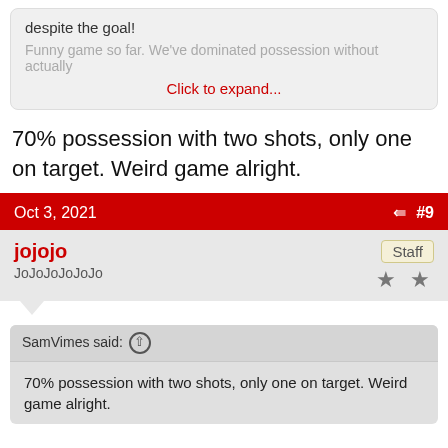despite the goal!
Funny game so far. We've dominated possession without actually
Click to expand...
70% possession with two shots, only one on target. Weird game alright.
Oct 3, 2021   #9
jojojo
JoJoJoJoJoJo
Staff
SamVimes said: ↑
70% possession with two shots, only one on target. Weird game alright.